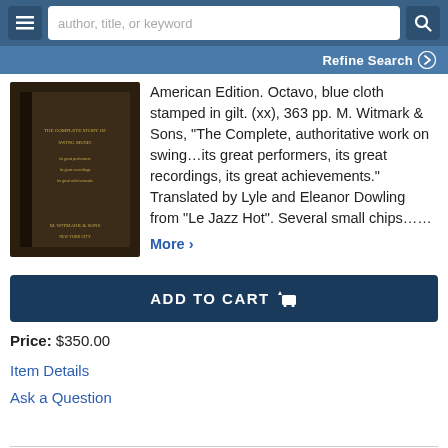author, title, or keyword
Refine Search
[Figure (photo): Photo of a dark brown cloth-bound book with gilt lettering, published by M. Witmark & Sons]
American Edition. Octavo, blue cloth stamped in gilt. (xx), 363 pp. M. Witmark & Sons, "The Complete, authoritative work on swing...its great performers, its great recordings, its great achievements." Translated by Lyle and Eleanor Dowling from "Le Jazz Hot". Several small chips……
More >
ADD TO CART
Price: $350.00
Item Details
Ask a Question